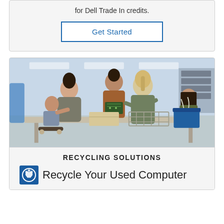for Dell Trade In credits.
Get Started
[Figure (photo): People at a table in a bright room exchanging electronics items for recycling; includes a smiling child on a skateboard, two women, and a man holding a circuit board.]
RECYCLING SOLUTIONS
Recycle Your Used Computer